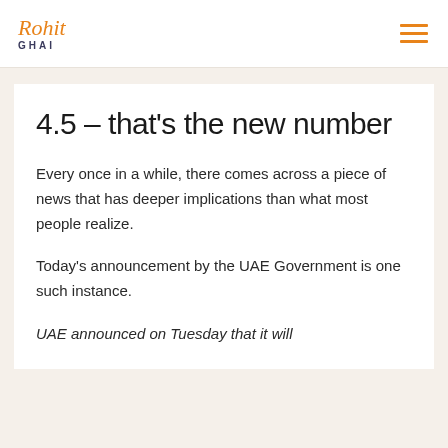Rohit GHAI
4.5 – that's the new number
Every once in a while, there comes across a piece of news that has deeper implications than what most people realize.
Today's announcement by the UAE Government is one such instance.
UAE announced on Tuesday that it will